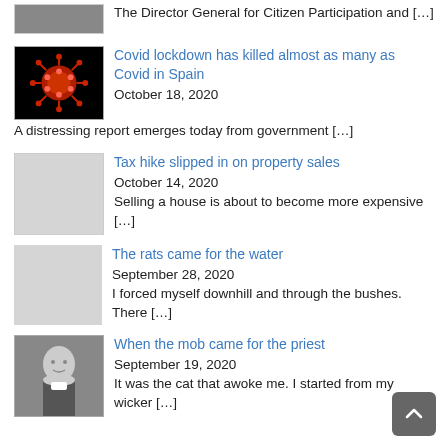The Director General for Citizen Participation and […]
Covid lockdown has killed almost as many as Covid in Spain
October 18, 2020
A distressing report emerges today from government […]
Tax hike slipped in on property sales
October 14, 2020
Selling a house is about to become more expensive […]
The rats came for the water
September 28, 2020
I forced myself downhill and through the bushes. There […]
When the mob came for the priest
September 19, 2020
It was the cat that awoke me. I started from my wicker […]